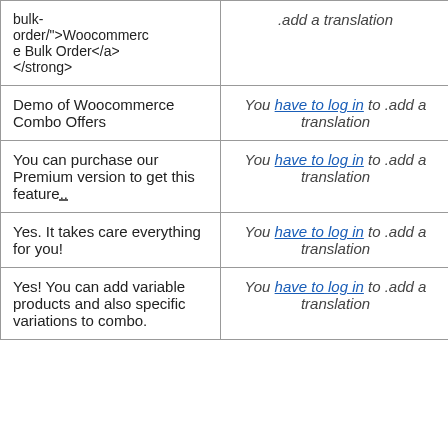| Original | Translation | Actions |
| --- | --- | --- |
| bulk-order/">Woocommerce Bulk Order</a></strong> | You have to log in to .add a translation |  |
| Demo of Woocommerce Combo Offers | You have to log in to .add a translation | Details |
| You can purchase our Premium version to get this feature.. | You have to log in to .add a translation | Details |
| Yes. It takes care everything for you! | You have to log in to .add a translation | Details |
| Yes! You can add variable products and also specific variations to combo. | You have to log in to .add a translation | Details |